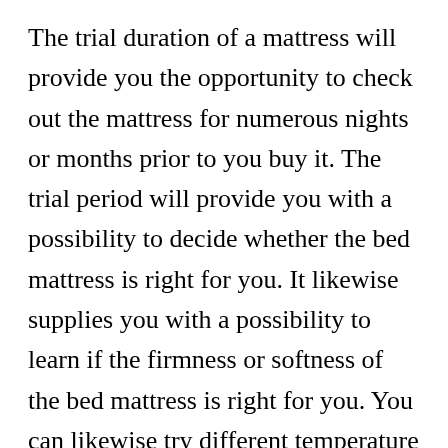The trial duration of a mattress will provide you the opportunity to check out the mattress for numerous nights or months prior to you buy it. The trial period will provide you with a possibility to decide whether the bed mattress is right for you. It likewise supplies you with a possibility to learn if the firmness or softness of the bed mattress is right for you. You can likewise try different temperature levels and see if they work for you.
If you decide to acquire a bed mattress through a seller, the trial period may start